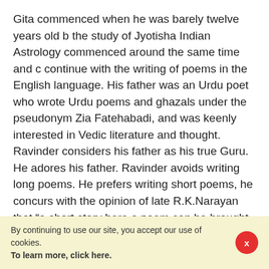Gita commenced when he was barely twelve years old b the study of Jyotisha Indian Astrology commenced around the same time and c continue with the writing of poems in the English language. His father was an Urdu poet who wrote Urdu poems and ghazals under the pseudonym Zia Fatehabadi, and was keenly interested in Vedic literature and thought. Ravinder considers his father as his true Guru. He adores his father. Ravinder avoids writing long poems. He prefers writing short poems, he concurs with the opinion of late R.K.Narayan that “a short story here a poem can be brought into existence through a mere suggestion of detail, the focus is kept on a central idea or climax… within a broad climate of inherited culture there are endless variations…in outlook, habits and day to day
By continuing to use our site, you accept our use of cookies.
To learn more, click here.